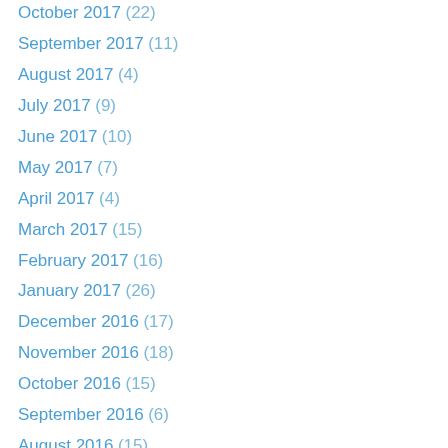October 2017 (22)
September 2017 (11)
August 2017 (4)
July 2017 (9)
June 2017 (10)
May 2017 (7)
April 2017 (4)
March 2017 (15)
February 2017 (16)
January 2017 (26)
December 2016 (17)
November 2016 (18)
October 2016 (15)
September 2016 (6)
August 2016 (15)
July 2016 (6)
June 2016 (18)
May 2016 (9)
April 2016 (6)
March 2016 (6)